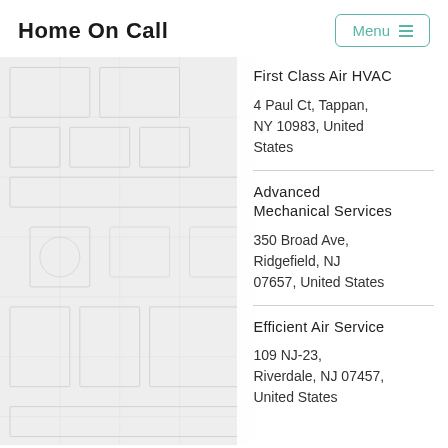Home On Call
First Class Air HVAC
4 Paul Ct, Tappan, NY 10983, United States
Advanced Mechanical Services
350 Broad Ave, Ridgefield, NJ 07657, United States
Efficient Air Service
109 NJ-23, Riverdale, NJ 07457, United States